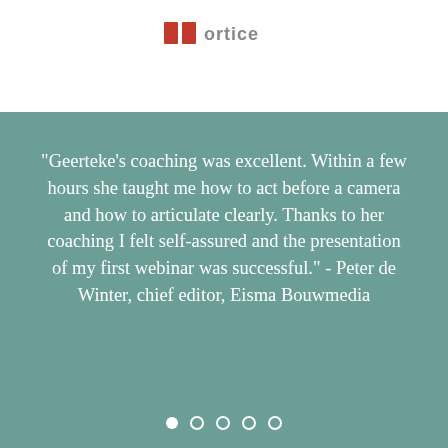[Figure (logo): Partial logo visible at top of page on white background]
"Geerteke's coaching was excellent. Within a few hours she taught me how to act before a camera and how to articulate clearly. Thanks to her coaching I felt self-assured and the presentation of my first webinar was successful." - Peter de Winter, chief editor, Eisma Bouwmedia